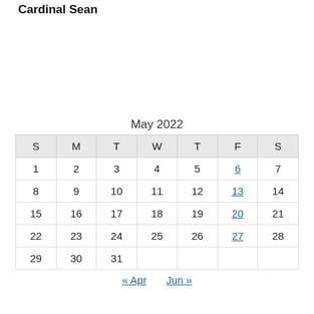Cardinal Sean
| S | M | T | W | T | F | S |
| --- | --- | --- | --- | --- | --- | --- |
| 1 | 2 | 3 | 4 | 5 | 6 | 7 |
| 8 | 9 | 10 | 11 | 12 | 13 | 14 |
| 15 | 16 | 17 | 18 | 19 | 20 | 21 |
| 22 | 23 | 24 | 25 | 26 | 27 | 28 |
| 29 | 30 | 31 |  |  |  |  |
« Apr   Jun »